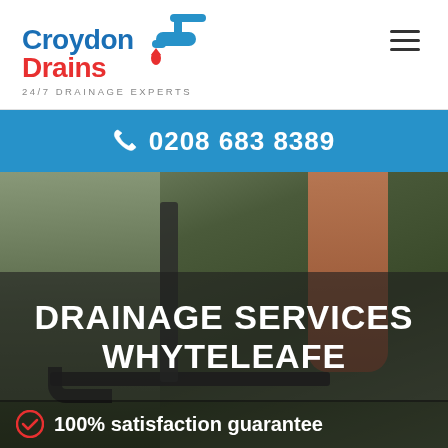[Figure (logo): Croydon Drains logo with blue faucet icon, 'Croydon' in blue, 'Drains' in red, tagline '24/7 DRAINAGE EXPERTS']
☰
📞 0208 683 8389
DRAINAGE SERVICES WHYTELEAFE
✅ 100% satisfaction guarantee